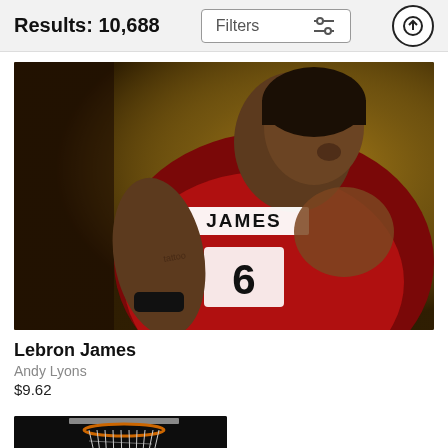Results: 10,688
[Figure (photo): LeBron James in Miami Heat red jersey #6, back turned, looking over shoulder. Crowd visible in background with yellow/gold tones.]
Lebron James
Andy Lyons
$9.62
[Figure (photo): Basketball hoop and net with a basketball below it, dark background.]